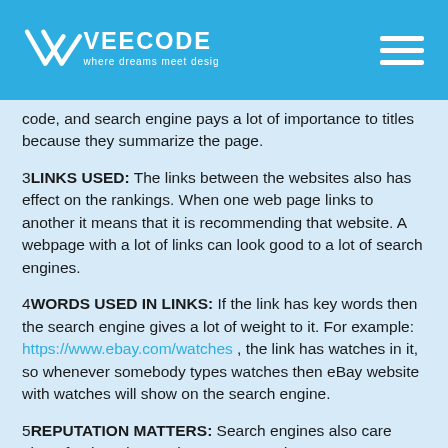VEECODE — where dreams meet design
code, and search engine pays a lot of importance to titles because they summarize the page.
3LINKS USED: The links between the websites also has effect on the rankings. When one web page links to another it means that it is recommending that website. A webpage with a lot of links can look good to a lot of search engines.
4WORDS USED IN LINKS: If the link has key words then the search engine gives a lot of weight to it. For example: https://www.ebay.com/watches , the link has watches in it, so whenever somebody types watches then eBay website with watches will show on the search engine.
5REPUTATION MATTERS: Search engines also care about fresh and engaging content, and